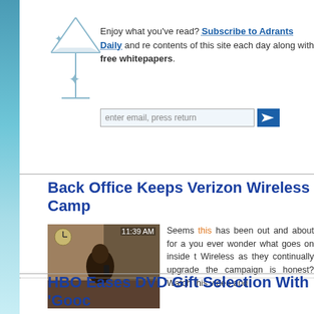Enjoy what you've read? Subscribe to Adrants Daily and re contents of this site each day along with free whitepapers.
[Figure (illustration): Martini glass logo for Adrants]
Back Office Keeps Verizon Wireless Camp
[Figure (screenshot): Video screenshot showing person at desk with clock reading 11:39 AM]
Seems this has been out and about for a you ever wonder what goes on inside t Wireless as they continually upgrade the campaign is honest? Watch this video and
by Steve Hall   Nov-27-05
Topic: Spoofs
HBO Eases DVD Gift Selection With 'Good